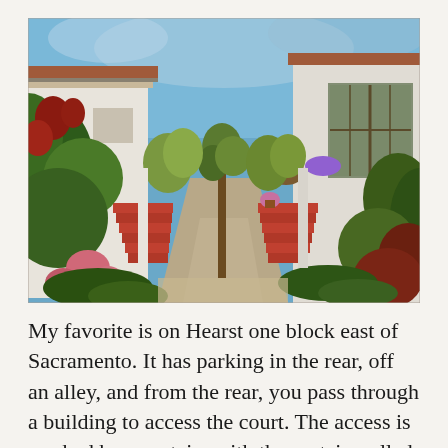[Figure (photo): A courtyard of white stucco bungalow units with red-painted stairs and lush garden plantings including roses, grasses, and trees along a central concrete walkway. Blue sky visible above.]
My favorite is on Hearst one block east of Sacramento. It has parking in the rear, off an alley, and from the rear, you pass through a building to access the court. The access is marked by a curtain, with the curtain pulled